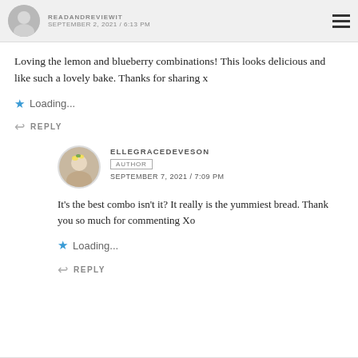READANDREVIEWIT / SEPTEMBER 2, 2021 / 6:13 PM
Loving the lemon and blueberry combinations! This looks delicious and like such a lovely bake. Thanks for sharing x
Loading...
REPLY
ELLEGRACEDEVESON AUTHOR SEPTEMBER 7, 2021 / 7:09 PM
It's the best combo isn't it? It really is the yummiest bread. Thank you so much for commenting Xo
Loading...
REPLY